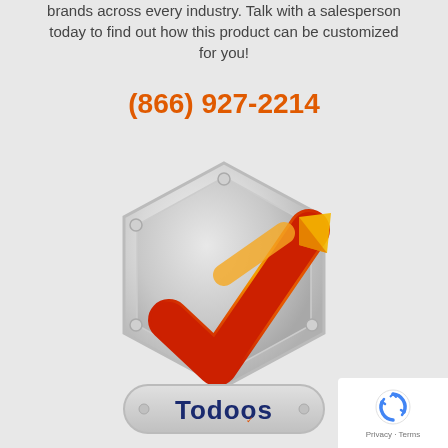brands across every industry. Talk with a salesperson today to find out how this product can be customized for you!
(866) 927-2214
[Figure (logo): Todoos company logo: a metallic hexagonal badge with an orange and red checkmark, with a pill-shaped base reading 'Todoos' in dark blue text]
[Figure (other): reCAPTCHA widget with circular arrow icon and Privacy/Terms links]